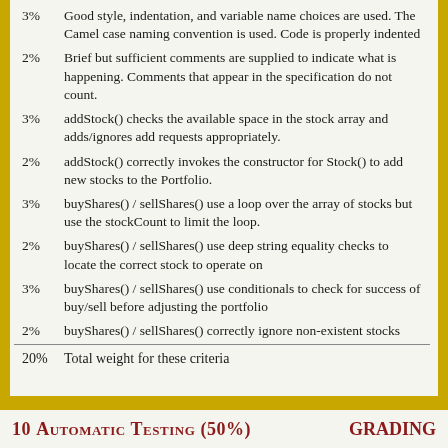3%  Good style, indentation, and variable name choices are used. The Camel case naming convention is used. Code is properly indented
2%  Brief but sufficient comments are supplied to indicate what is happening. Comments that appear in the specification do not count.
3%  addStock() checks the available space in the stock array and adds/ignores add requests appropriately.
2%  addStock() correctly invokes the constructor for Stock() to add new stocks to the Portfolio.
3%  buyShares() / sellShares() use a loop over the array of stocks but use the stockCount to limit the loop.
2%  buyShares() / sellShares() use deep string equality checks to locate the correct stock to operate on
3%  buyShares() / sellShares() use conditionals to check for success of buy/sell before adjusting the portfolio
2%  buyShares() / sellShares() correctly ignore non-existent stocks
| Weight | Criterion |
| --- | --- |
| 20% | Total weight for these criteria |
10 Automatic Testing (50%)   GRADING